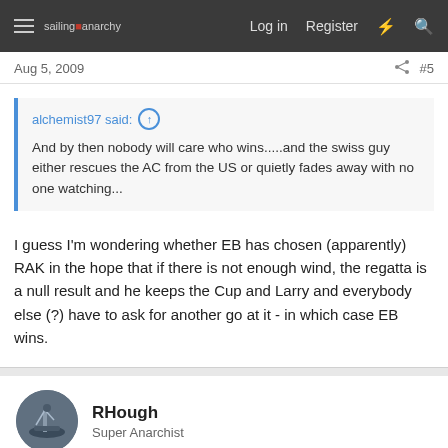sailing anarchy  Log in  Register  #5
Aug 5, 2009  #5
alchemist97 said: And by then nobody will care who wins.....and the swiss guy either rescues the AC from the US or quietly fades away with no one watching...
I guess I'm wondering whether EB has chosen (apparently) RAK in the hope that if there is not enough wind, the regatta is a null result and he keeps the Cup and Larry and everybody else (?) have to ask for another go at it - in which case EB wins.
RHough
Super Anarchist